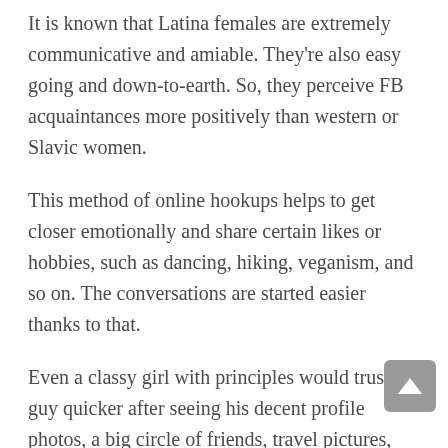It is known that Latina females are extremely communicative and amiable. They're also easy going and down-to-earth. So, they perceive FB acquaintances more positively than western or Slavic women.
This method of online hookups helps to get closer emotionally and share certain likes or hobbies, such as dancing, hiking, veganism, and so on. The conversations are started easier thanks to that.
Even a classy girl with principles would trust a guy quicker after seeing his decent profile photos, a big circle of friends, travel pictures, the non-married status. In this regard, FB is a best way to hookup.